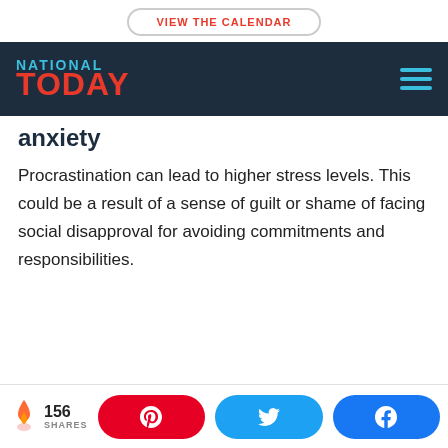VIEW THE CALENDAR
NATIONAL TODAY
anxiety
Procrastination can lead to higher stress levels. This could be a result of a sense of guilt or shame of facing social disapproval for avoiding commitments and responsibilities.
156 SHARES